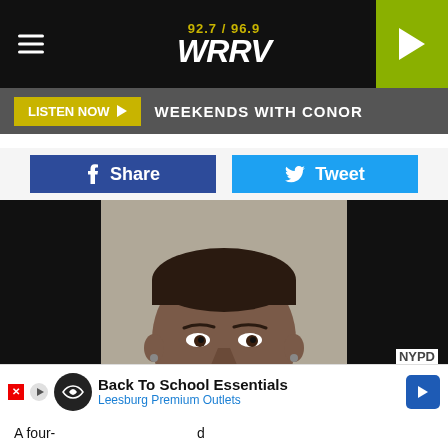92.7 / 96.9 WRRV
LISTEN NOW ▶  WEEKENDS WITH CONOR
Share  Tweet
[Figure (photo): Mugshot photo of a man wearing a black hoodie, with short hair, a goatee, and small earrings, against a gray background]
NYPD
A four-  Back To School Essentials  Leesburg Premium Outlets  d